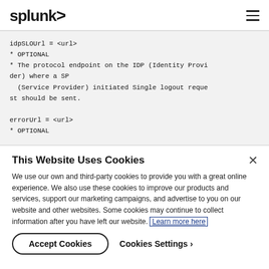splunk>
idpSLOUrl = <url>
* OPTIONAL
* The protocol endpoint on the IDP (Identity Provider) where a SP
   (Service Provider) initiated Single logout request should be sent.

errorUrl = <url>
* OPTIONAL
This Website Uses Cookies
We use our own and third-party cookies to provide you with a great online experience. We also use these cookies to improve our products and services, support our marketing campaigns, and advertise to you on our website and other websites. Some cookies may continue to collect information after you have left our website. Learn more here
Accept Cookies
Cookies Settings ›